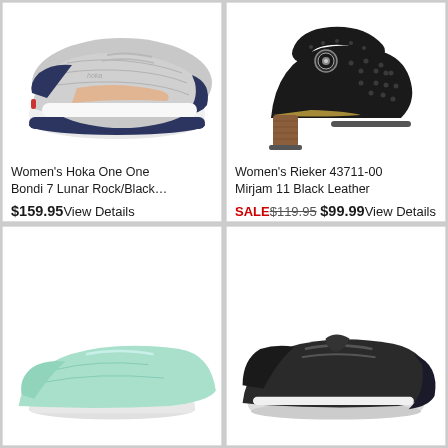[Figure (photo): Women's Hoka One One Bondi 7 running shoe in Lunar Rock/Black colorway, side view showing thick white midsole and grey mesh upper with peach accents]
Women's Hoka One One Bondi 7 Lunar Rock/Black…
$159.95 View Details
[Figure (photo): Women's Rieker 43711-00 Mirjam 11 black leather heeled sandal with perforated upper and decorative oval brooch, block heel in brown wood finish]
Women's Rieker 43711-00 Mirjam 11 Black Leather
SALE $119.95 $99.99 View Details
[Figure (photo): Women's shoe in light mint/aqua color, partial view showing toe box area, appears to be a sneaker]
[Figure (photo): Women's black sneaker/athletic shoe, partial view from angle showing laces and toe, dark colorway]